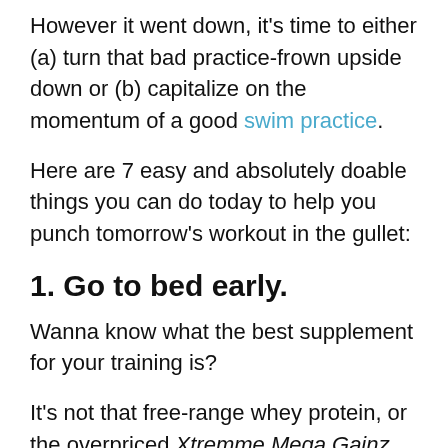However it went down, it's time to either (a) turn that bad practice-frown upside down or (b) capitalize on the momentum of a good swim practice.
Here are 7 easy and absolutely doable things you can do today to help you punch tomorrow's workout in the gullet:
1. Go to bed early.
Wanna know what the best supplement for your training is?
It's not that free-range whey protein, or the overpriced Xtremme Mega Gainz pre-workout from your local GNC.